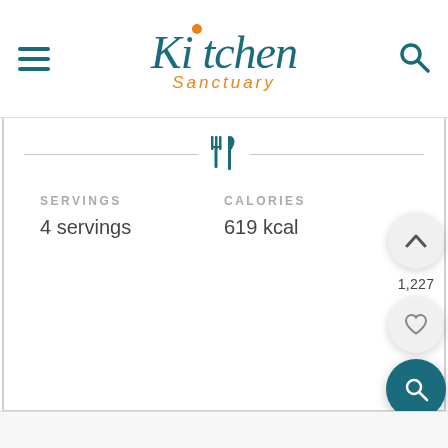[Figure (logo): Kitchen Sanctuary logo with teal cursive text and orange dot accent, orange italic 'Sanctuary' subtitle]
SERVINGS
4 servings
CALORIES
619 kcal
1,227